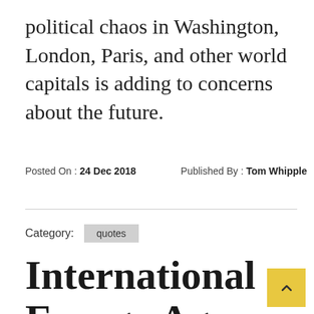political chaos in Washington, London, Paris, and other world capitals is adding to concerns about the future.
Posted On : 24 Dec 2018    Published By : Tom Whipple
Category: quotes
International Energy Agency on Russia, USA and Saudi Arabia as